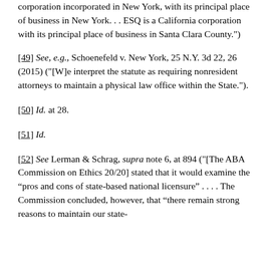corporation incorporated in New York, with its principal place of business in New York. . . ESQ is a California corporation with its principal place of business in Santa Clara County.")
[49] See, e.g., Schoenefeld v. New York, 25 N.Y. 3d 22, 26 (2015) ("[W]e interpret the statute as requiring nonresident attorneys to maintain a physical law office within the State.").
[50] Id. at 28.
[51] Id.
[52] See Lerman & Schrag, supra note 6, at 894 ("[The ABA Commission on Ethics 20/20] stated that it would examine the “pros and cons of state-based national licensure” . . . . The Commission concluded, however, that “there remain strong reasons to maintain our state-